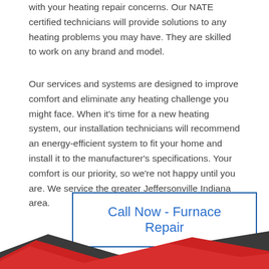with your heating repair concerns. Our NATE certified technicians will provide solutions to any heating problems you may have. They are skilled to work on any brand and model.
Our services and systems are designed to improve comfort and eliminate any heating challenge you might face. When it's time for a new heating system, our installation technicians will recommend an energy-efficient system to fit your home and install it to the manufacturer's specifications. Your comfort is our priority, so we're not happy until you are. We service the greater Jeffersonville Indiana area.
Call Now - Furnace Repair
[Figure (illustration): Red and dark gray chevron/wave decorative footer graphic at the bottom of the page]